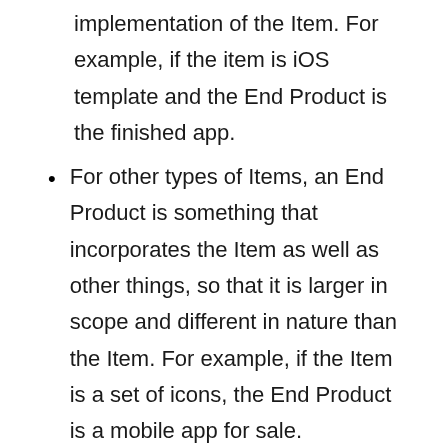implementation of the Item. For example, if the item is iOS template and the End Product is the finished app.
For other types of Items, an End Product is something that incorporates the Item as well as other things, so that it is larger in scope and different in nature than the Item. For example, if the Item is a set of icons, the End Product is a mobile app for sale.
You are allowed to:
You may create an End Product for a